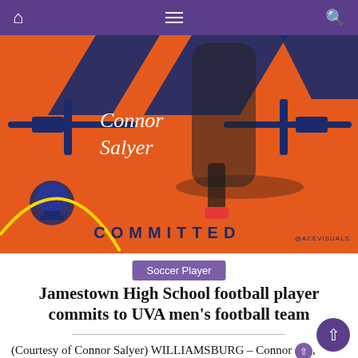Navigation bar with home, menu, and search icons
[Figure (photo): Orange sports recruitment graphic for Connor Salyer showing a soccer/football player running with crossed sword decorations and text 'Connor Salyer' in script, with 'COMMITTED' in large dark blue letters at the bottom and '@ACEVISUALS' watermark]
Soccer Player
Jamestown High School football player commits to UVA men's football team
(Courtesy of Connor Salyer) WILLIAMSBURG – Connor [S], a Jamestown High School (JHS) footballer, recently pledged